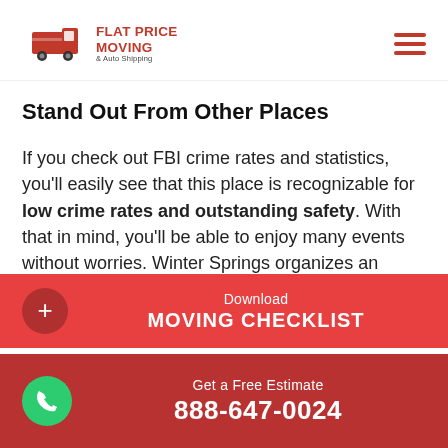[Figure (logo): Flat Price Moving & Auto Shipping logo with red moving truck icon and company name text]
Stand Out From Other Places
If you check out FBI crime rates and statistics, you'll easily see that this place is recognizable for low crime rates and outstanding safety. With that in mind, you'll be able to enjoy many events without worries. Winter Springs organizes an annual Festival of the Arts that
Download MOVING CHECKLIST
Get a Free Estimate 888-647-0024